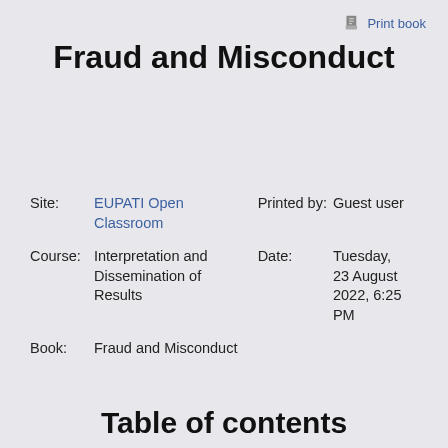Print book
Fraud and Misconduct
| Site: | EUPATI Open Classroom | Printed by: | Guest user |
| Course: | Interpretation and Dissemination of Results | Date: | Tuesday, 23 August 2022, 6:25 PM |
| Book: | Fraud and Misconduct |  |  |
Table of contents